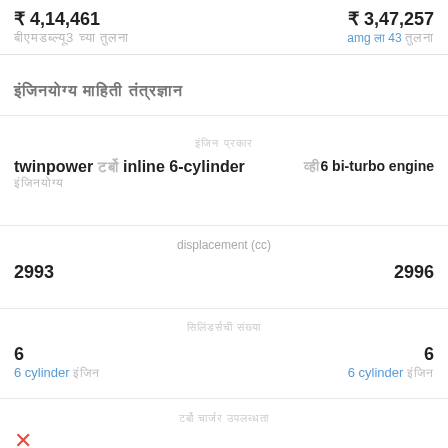₹ 4,14,461
₹ 3,47,257
amg ला 43 तुलना
इंजिनची माहिती
इंजिन प्रकार
twinpower टर्बो inline 6-cylinder
V6 bi-turbo engine
displacement (cc)
2993
2996
सिलिंडर्सची संख्या
6
6
6 cylinder इंजिन
6 cylinder इंजिन
टर्बो चार्जर उपलब्धता